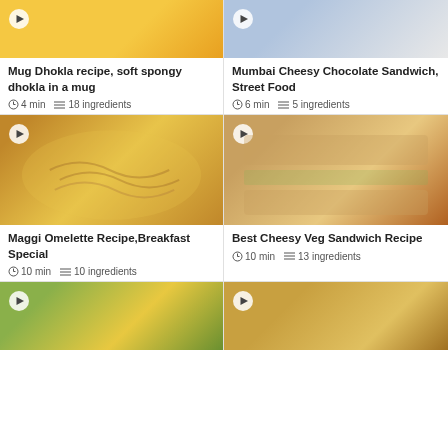[Figure (photo): Mug Dhokla - yellow spongy dhokla pieces in a mug]
Mug Dhokla recipe, soft spongy dhokla in a mug
4 min  18 ingredients
[Figure (photo): Mumbai Cheesy Chocolate Sandwich Street Food]
Mumbai Cheesy Chocolate Sandwich, Street Food
6 min  5 ingredients
[Figure (photo): Maggi Omelette - noodles with vegetables in a pan]
Maggi Omelette Recipe,Breakfast Special
10 min  10 ingredients
[Figure (photo): Best Cheesy Veg Sandwich - grilled sandwich cut diagonally]
Best Cheesy Veg Sandwich Recipe
10 min  13 ingredients
[Figure (photo): Aloo recipe - potato pieces with herbs]
[Figure (photo): Dumpling/potato recipe with herbs]